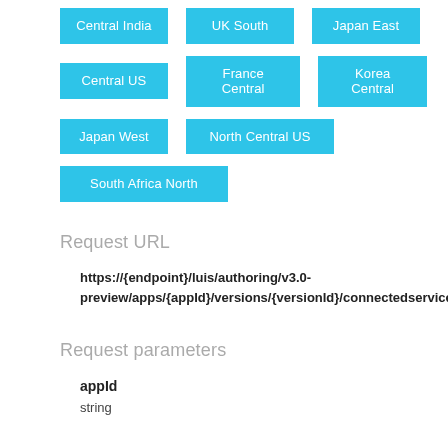[Figure (infographic): A grid of cyan/blue rectangular tag buttons showing Azure region names: Central India, UK South, Japan East, Central US, France Central, Korea Central, Japan West, North Central US, South Africa North]
Request URL
https://{endpoint}/luis/authoring/v3.0-preview/apps/{appId}/versions/{versionId}/connectedservices
Request parameters
appId
string